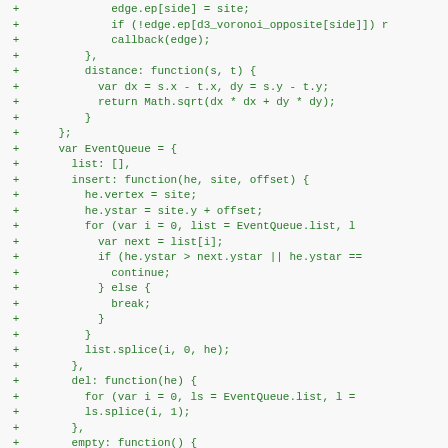[Figure (screenshot): Code diff snippet showing JavaScript code in green monospace font on light background. Lines show additions (marked with +) to a Voronoi diagram implementation including edge, callback, distance function, EventQueue object with list, insert, del, and empty methods.]